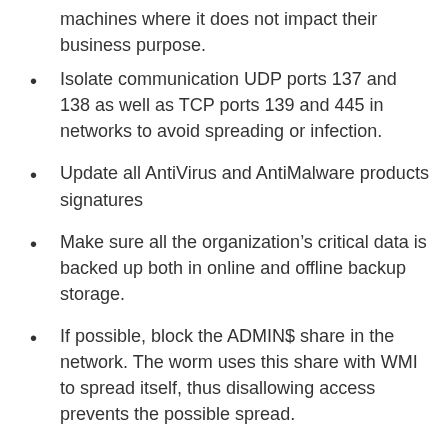machines where it does not impact their business purpose.
Isolate communication UDP ports 137 and 138 as well as TCP ports 139 and 445 in networks to avoid spreading or infection.
Update all AntiVirus and AntiMalware products signatures
Make sure all the organization’s critical data is backed up both in online and offline backup storage.
If possible, block the ADMIN$ share in the network. The worm uses this share with WMI to spread itself, thus disallowing access prevents the possible spread.
If you are infected, do not pay the 300$ asked ransom fee. The e-mail address referred to is no longer in service. The decryption key will not be received when you pay the fee.
The malware tries to reboot immediately and then again after 30-60 minutes. If infection is identified